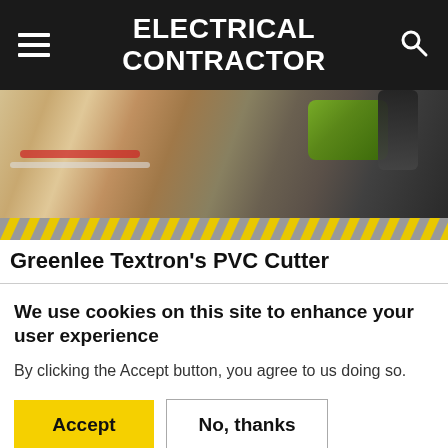ELECTRICAL CONTRACTOR
[Figure (photo): Close-up photo of a hand holding a Greenlee Textron PVC cutter tool with green and black handle, with wires in background. Yellow diagonal stripes at bottom of image.]
Greenlee Textron's PVC Cutter
We use cookies on this site to enhance your user experience
By clicking the Accept button, you agree to us doing so.